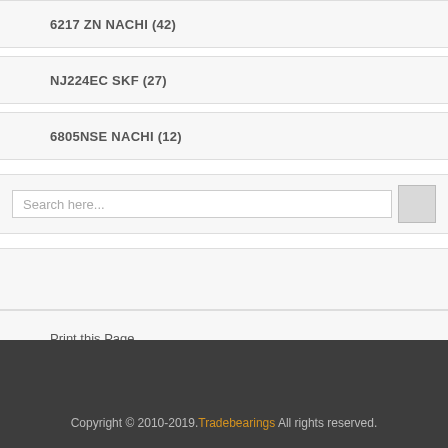6217 ZN NACHI (42)
NJ224EC SKF (27)
6805NSE NACHI (12)
Search here...
Print this Page
Copyright © 2010-2019. Tradebearings All rights reserved.